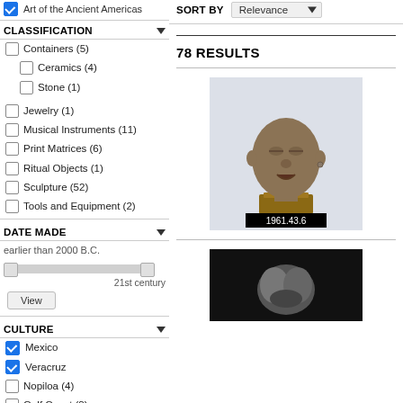Art of the Ancient Americas (checked)
CLASSIFICATION
Containers (5)
Ceramics (4)
Stone (1)
Jewelry (1)
Musical Instruments (11)
Print Matrices (6)
Ritual Objects (1)
Sculpture (52)
Tools and Equipment (2)
DATE MADE
earlier than 2000 B.C.
21st century
View
CULTURE
Mexico (checked)
Veracruz (checked)
Nopiloa (4)
Gulf Coast (3)
Olmec (3)
SORT BY  Relevance
78 RESULTS
[Figure (photo): Ceramic sculptural head of a figure, mounted on a wooden base, artifact 1961.43.6]
[Figure (photo): Small artifact photographed against black background, partially visible at bottom right]